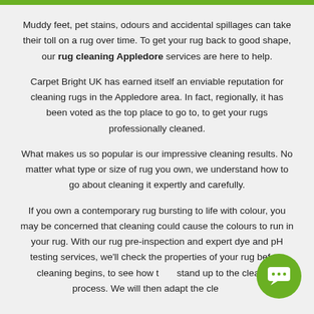Muddy feet, pet stains, odours and accidental spillages can take their toll on a rug over time. To get your rug back to good shape, our rug cleaning Appledore services are here to help.
Carpet Bright UK has earned itself an enviable reputation for cleaning rugs in the Appledore area. In fact, regionally, it has been voted as the top place to go to, to get your rugs professionally cleaned.
What makes us so popular is our impressive cleaning results. No matter what type or size of rug you own, we understand how to go about cleaning it expertly and carefully.
If you own a contemporary rug bursting to life with colour, you may be concerned that cleaning could cause the colours to run in your rug. With our rug pre-inspection and expert dye and pH testing services, we'll check the properties of your rug before cleaning begins, to see how they stand up to the cleaning process. We will then adapt the cle...